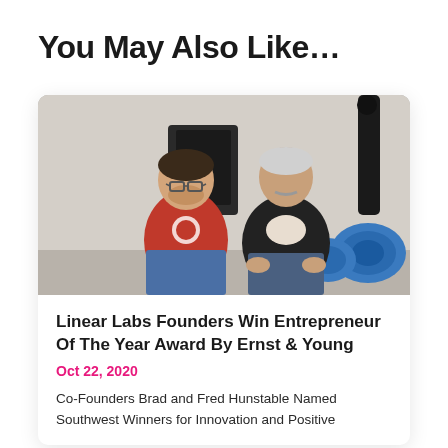You May Also Like…
[Figure (photo): Two men sitting together in an industrial/lab setting. Left: younger man wearing a red Iron Man t-shirt and glasses. Right: older man wearing a black blazer. Blue industrial fans/motors visible in the background.]
Linear Labs Founders Win Entrepreneur Of The Year Award By Ernst & Young
Oct 22, 2020
Co-Founders Brad and Fred Hunstable Named Southwest Winners for Innovation and Positive